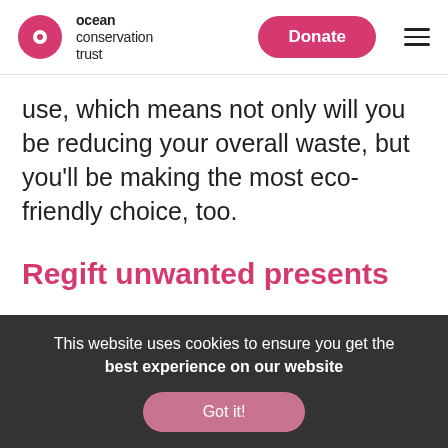ocean conservation trust | Donate
use, which means not only will you be reducing your overall waste, but you'll be making the most eco-friendly choice, too.
Regift unwanted presents
Each year, consumers are thought
This website uses cookies to ensure you get the best experience on our website
Got it!